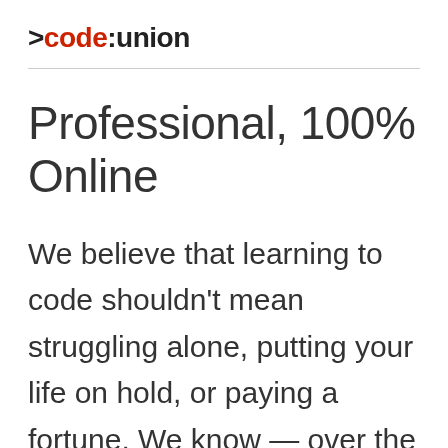>code:union
Professional, 100% Online
We believe that learning to code shouldn't mean struggling alone, putting your life on hold, or paying a fortune. We know — over the past two years, we've helped train over a hundred beginners to be full-time, professional software engineers